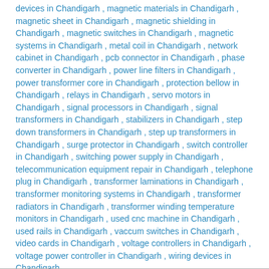devices in Chandigarh , magnetic materials in Chandigarh , magnetic sheet in Chandigarh , magnetic shielding in Chandigarh , magnetic switches in Chandigarh , magnetic systems in Chandigarh , metal coil in Chandigarh , network cabinet in Chandigarh , pcb connector in Chandigarh , phase converter in Chandigarh , power line filters in Chandigarh , power transformer core in Chandigarh , protection bellow in Chandigarh , relays in Chandigarh , servo motors in Chandigarh , signal processors in Chandigarh , signal transformers in Chandigarh , stabilizers in Chandigarh , step down transformers in Chandigarh , step up transformers in Chandigarh , surge protector in Chandigarh , switch controller in Chandigarh , switching power supply in Chandigarh , telecommunication equipment repair in Chandigarh , telephone plug in Chandigarh , transformer laminations in Chandigarh , transformer monitoring systems in Chandigarh , transformer radiators in Chandigarh , transformer winding temperature monitors in Chandigarh , used cnc machine in Chandigarh , used rails in Chandigarh , vaccum switches in Chandigarh , video cards in Chandigarh , voltage controllers in Chandigarh , voltage power controller in Chandigarh , wiring devices in Chandigarh